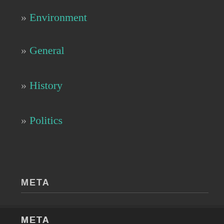» Environment
» General
» History
» Politics
META
» Register
» Log in
» Entries feed
» Comments feed
» WordPress.com